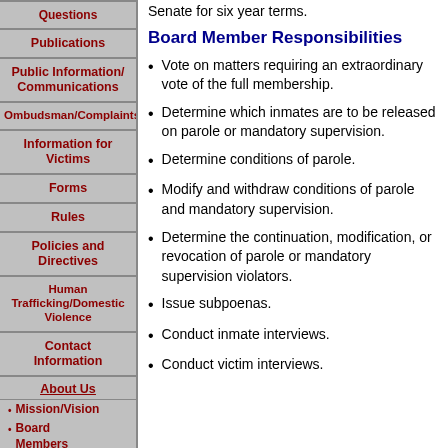Questions
Publications
Public Information/ Communications
Ombudsman/Complaints
Information for Victims
Forms
Rules
Policies and Directives
Human Trafficking/Domestic Violence
Contact Information
About Us
Mission/Vision
Board Members
Senate for six year terms.
Board Member Responsibilities
Vote on matters requiring an extraordinary vote of the full membership.
Determine which inmates are to be released on parole or mandatory supervision.
Determine conditions of parole.
Modify and withdraw conditions of parole and mandatory supervision.
Determine the continuation, modification, or revocation of parole or mandatory supervision violators.
Issue subpoenas.
Conduct inmate interviews.
Conduct victim interviews.